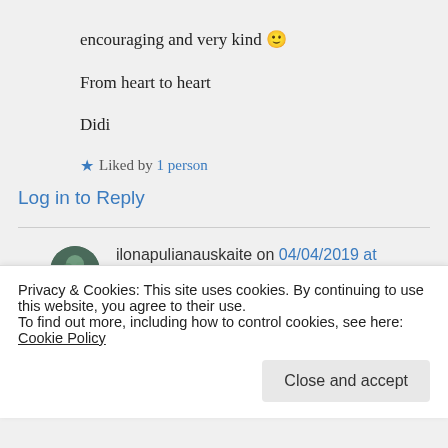encouraging and very kind 🙂
From heart to heart
Didi
★ Liked by 1 person
Log in to Reply
ilonapulianauskaite on 04/04/2019 at 20:37
👍 0 👎 0 ℹ Rate This
Privacy & Cookies: This site uses cookies. By continuing to use this website, you agree to their use.
To find out more, including how to control cookies, see here: Cookie Policy
Close and accept